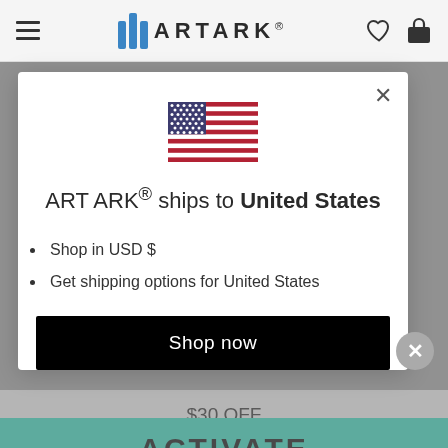[Figure (screenshot): ARTARK website navigation bar with hamburger menu, logo with blue bars and ARTARK text, heart and bag icons]
[Figure (illustration): US flag icon inside modal dialog]
ART ARK® ships to United States
Shop in USD $
Get shipping options for United States
Shop now
$30 OFF
ACTIVATE